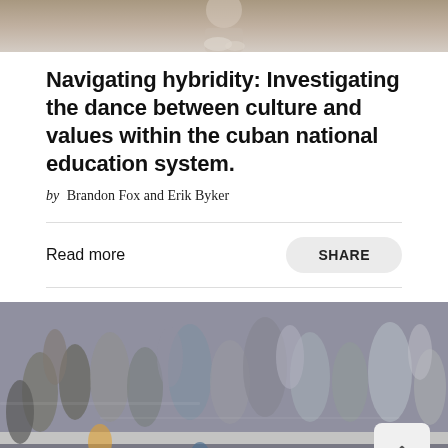[Figure (photo): Partial top edge of a photo, showing blurred figures with light background]
Navigating hybridity: Investigating the dance between culture and values within the cuban national education system.
by Brandon Fox and Erik Byker
Read more
SHARE
[Figure (photo): Busy pedestrian crossing with a large blurred crowd of people walking, motion blur effect, black and white stripes of crosswalk visible. A back-to-top arrow button visible in the lower right corner.]